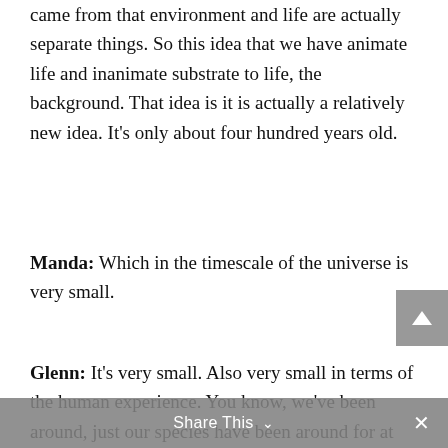came from that environment and life are actually separate things. So this idea that we have animate life and inanimate substrate to life, the background. That idea is it is actually a relatively new idea. It's only about four hundred years old.
Manda: Which in the timescale of the universe is very small.
Glenn: It's very small. Also very small in terms of the human experience. You know, we've been around, just our species have been around for at least a couple of